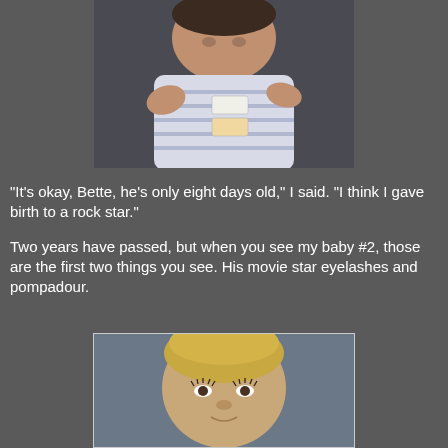[Figure (photo): Photo of a newborn baby in a striped onesie with hospital tags, viewed from slightly above]
"It's okay, Bette, he's only eight days old," I said.  "I think I gave birth to a rock star."
Two years have passed, but when you see my baby #2, those are the first two things you see. His movie star eyelashes and pompadour.
[Figure (photo): Photo of a toddler with blonde hair styled in a pompadour, notable eyelashes visible]